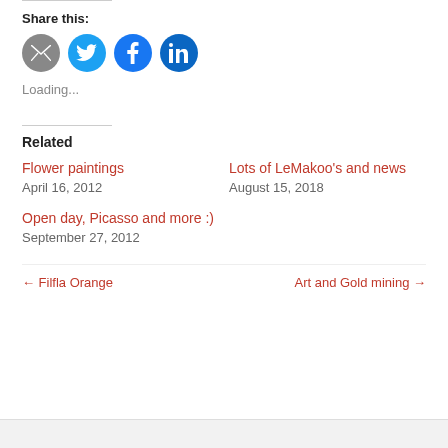Share this:
[Figure (infographic): Four social sharing icon circles: email (gray), Twitter (light blue), Facebook (blue), LinkedIn (dark blue)]
Loading...
Related
Flower paintings
April 16, 2012
Lots of LeMakoo's and news
August 15, 2018
Open day, Picasso and more :)
September 27, 2012
← Filfla Orange
Art and Gold mining →